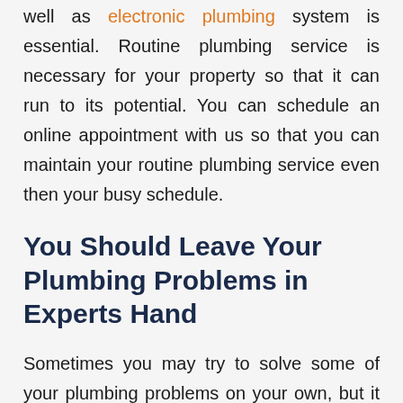well as electronic plumbing system is essential. Routine plumbing service is necessary for your property so that it can run to its potential. You can schedule an online appointment with us so that you can maintain your routine plumbing service even then your busy schedule.
You Should Leave Your Plumbing Problems in Experts Hand
Sometimes you may try to solve some of your plumbing problems on your own, but it doesn't work all time. Some plumbing issues may be dangerous and not appropriate for DIY projects, such as